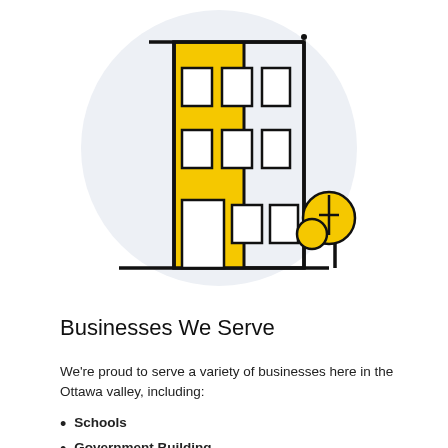[Figure (illustration): Illustration of a multi-story building (left half yellow, right half outline) with rectangular windows on three floors, a door at ground level, and a stylized tree to the right, all on a light-grey circular background.]
Businesses We Serve
We're proud to serve a variety of businesses here in the Ottawa valley, including:
Schools
Government Buildings